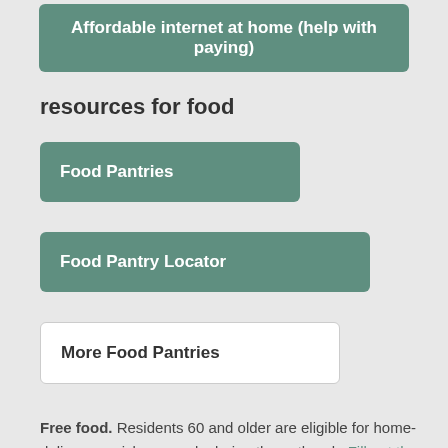Affordable internet at home (help with paying)
resources for food
Food Pantries
Food Pantry Locator
More Food Pantries
Free food. Residents 60 and older are eligible for home-delivery or pick-up meals during the outbreak. Fill out the form